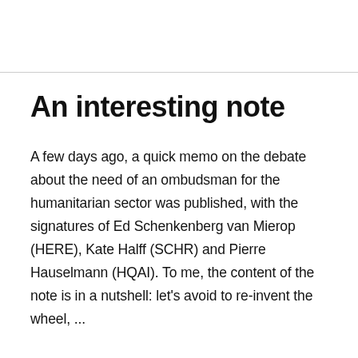An interesting note
A few days ago, a quick memo on the debate about the need of an ombudsman for the humanitarian sector was published, with the signatures of Ed Schenkenberg van Mierop (HERE), Kate Halff (SCHR) and Pierre Hauselmann (HQAI). To me, the content of the note is in a nutshell: let's avoid to re-invent the wheel, ...